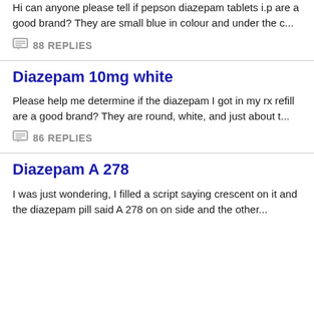Hi can anyone please tell if pepson diazepam tablets i.p are a good brand? They are small blue in colour and under the c...
88 REPLIES
Diazepam 10mg white
Please help me determine if the diazepam I got in my rx refill are a good brand? They are round, white, and just about t...
86 REPLIES
Diazepam A 278
I was just wondering, I filled a script saying crescent on it and the diazepam pill said A 278 on on side and the other...